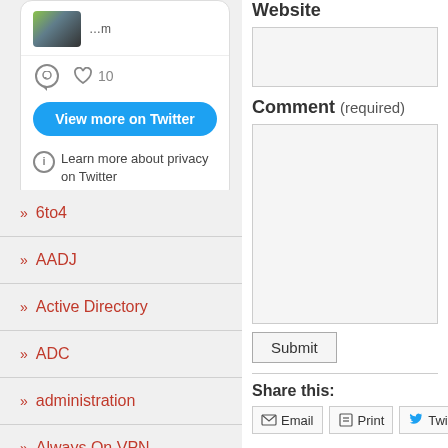[Figure (screenshot): Twitter widget showing tweet with avatar, comment and like icons (10 likes), blue 'View more on Twitter' button, and privacy info note]
6to4
AADJ
Active Directory
ADC
administration
Always On VPN
Website
(input field for website)
Comment (required)
(textarea for comment)
Submit
Share this:
Email  Print  Twitter